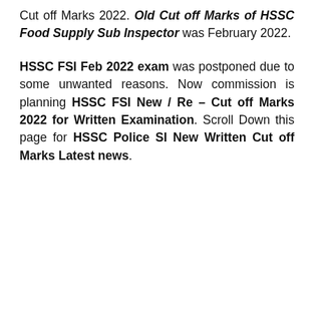Cut off Marks 2022. Old Cut off Marks of HSSC Food Supply Sub Inspector was February 2022.
HSSC FSI Feb 2022 exam was postponed due to some unwanted reasons. Now commission is planning HSSC FSI New / Re – Cut off Marks 2022 for Written Examination. Scroll Down this page for HSSC Police SI New Written Cut off Marks Latest news.